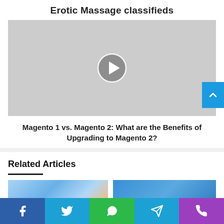Erotic Massage classifieds
[Figure (other): Video thumbnail placeholder with play button (grey background with circular play icon)]
Magento 1 vs. Magento 2: What are the Benefits of Upgrading to Magento 2?
Related Articles
[Figure (photo): Two related article thumbnail images side by side - left shows a sky/nature image, right shows a blue themed image]